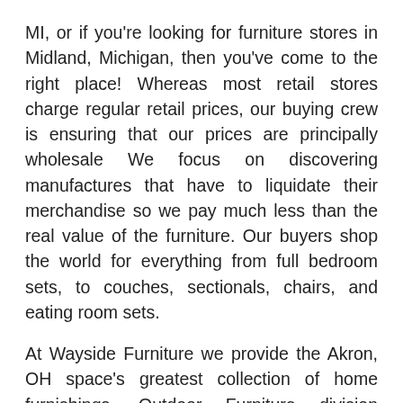MI, or if you're looking for furniture stores in Midland, Michigan, then you've come to the right place! Whereas most retail stores charge regular retail prices, our buying crew is ensuring that our prices are principally wholesale We focus on discovering manufactures that have to liquidate their merchandise so we pay much less than the real value of the furniture. Our buyers shop the world for everything from full bedroom sets, to couches, sectionals, chairs, and eating room sets.
At Wayside Furniture we provide the Akron, OH space's greatest collection of home furnishings. Outdoor Furniture division featuring outdoor eating, patio lounge units, firepits and more. We've got over 185 Furniture and Electrical shops throughout the UK selling pre-beloved sofas, dining sets, beds, plus rather more at unimaginable prices. Originally a warehouse that dates again to the 1950s, Room & Board San Francisco is a modern furniture retailer that has since